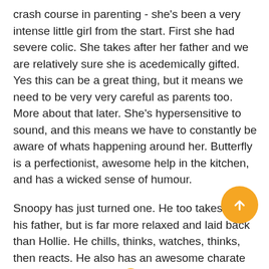crash course in parenting - she's been a very intense little girl from the start. First she had severe colic. She takes after her father and we are relatively sure she is acedemically gifted. Yes this can be a great thing, but it means we need to be very very careful as parents too. More about that later. She's hypersensitive to sound, and this means we have to constantly be aware of whats happening around her. Butterfly is a perfectionist, awesome help in the kitchen, and has a wicked sense of humour.
Snoopy has just turned one. He too takes after his father, but is far more relaxed and laid back than Hollie. He chills, thinks, watches, thinks, then reacts. He also has an awesome charate and sense of humour 😐
The engineer is tested gifted. He went to manage